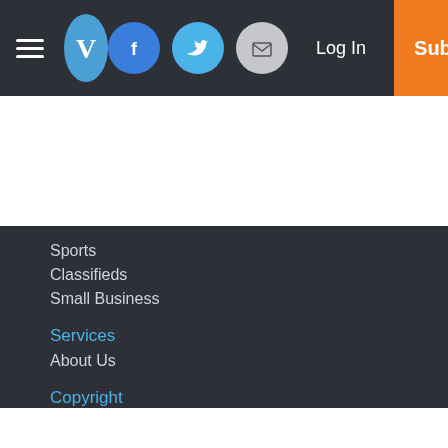Navigation bar with hamburger menu, V logo, Facebook, Twitter, Email icons, Log In, Subscribe
Sports
Classifieds
Small Business
Services
About Us
Copyright
© 2022, Valley Times-News